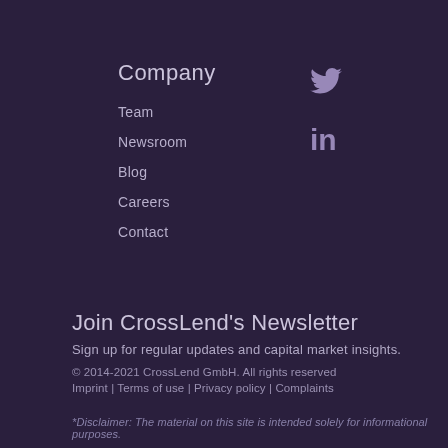Company
Team
Newsroom
Blog
Careers
Contact
[Figure (illustration): Twitter bird icon and LinkedIn 'in' icon in light purple on dark purple background]
Join CrossLend's Newsletter
Sign up for regular updates and capital market insights.
© 2014-2021 CrossLend GmbH. All rights reserved
Imprint | Terms of use | Privacy policy | Complaints
*Disclaimer: The material on this site is intended solely for informational purposes.